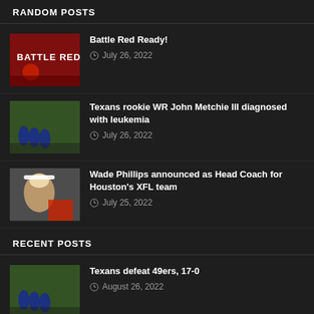RANDOM POSTS
Battle Red Ready! | July 26, 2022
Texans rookie WR John Metchie III diagnosed with leukemia | July 26, 2022
Wade Phillips announced as Head Coach for Houston's XFL team | July 25, 2022
RECENT POSTS
Texans defeat 49ers, 17-0 | August 26, 2022